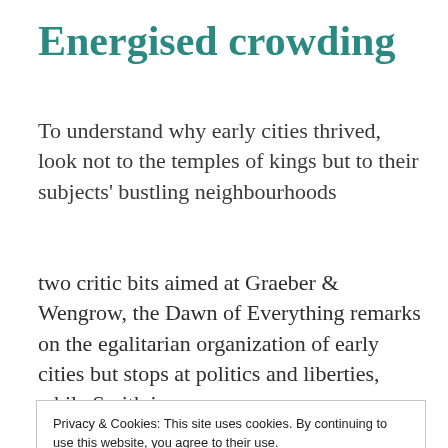Energised crowding
To understand why early cities thrived, look not to the temples of kings but to their subjects' bustling neighbourhoods
two critic bits aimed at Graeber & Wengrow, the Dawn of Everything remarks on the egalitarian organization of early cities but stops at politics and liberties, while Smith in
Privacy & Cookies: This site uses cookies. By continuing to use this website, you agree to their use.
To find out more, including how to control cookies, see here: Cookie Policy
organization? still G&W try to show that